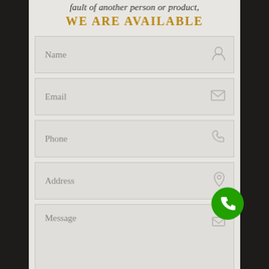fault of another person or product,
WE ARE AVAILABLE
Name
Email
Phone
Address
Message